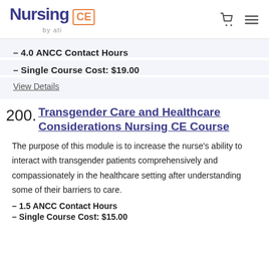Nursing CE by ati
- 4.0 ANCC Contact Hours
- Single Course Cost: $19.00
View Details
200. Transgender Care and Healthcare Considerations Nursing CE Course
The purpose of this module is to increase the nurse's ability to interact with transgender patients comprehensively and compassionately in the healthcare setting after understanding some of their barriers to care.
- 1.5 ANCC Contact Hours
- Single Course Cost: $15.00